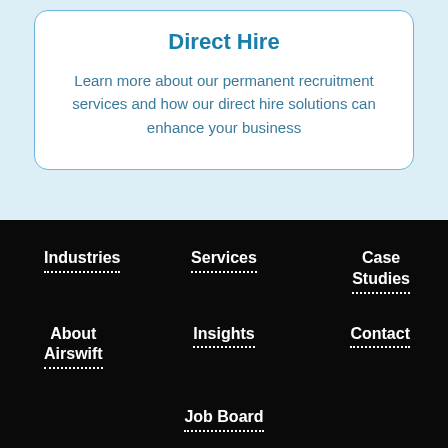Direct Hire
Learn more about our permanent recruitment services and how our direct hire solutions can enhance your business
Industries
Services
Case Studies
About Airswift
Insights
Contact
Job Board